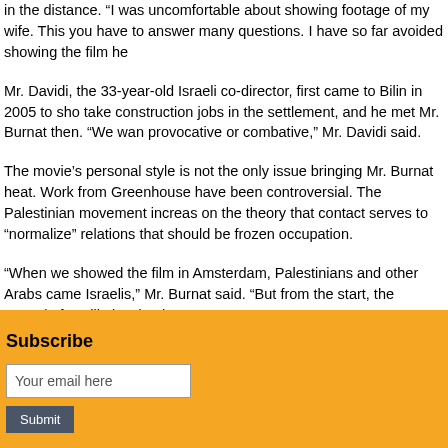in the distance. “I was uncomfortable about showing footage of my wife. This you have to answer many questions. I have so far avoided showing the film he
Mr. Davidi, the 33-year-old Israeli co-director, first came to Bilin in 2005 to sho take construction jobs in the settlement, and he met Mr. Burnat then. “We wan provocative or combative,” Mr. Davidi said.
The movie’s personal style is not the only issue bringing Mr. Burnat heat. Work from Greenhouse have been controversial. The Palestinian movement increas on the theory that contact serves to “normalize” relations that should be frozen occupation.
“When we showed the film in Amsterdam, Palestinians and other Arabs came Israelis,” Mr. Burnat said. “But from the start, the struggle for Bilin involved Isra
Subscribe
Your email here
Submit